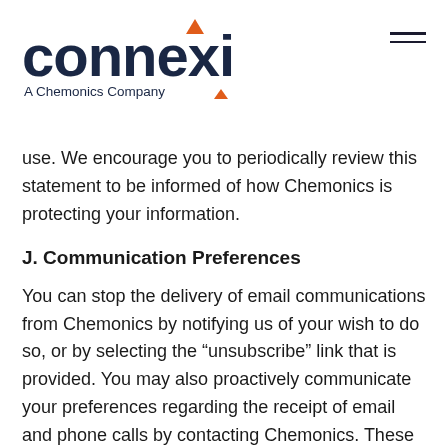[Figure (logo): Connexi logo with orange triangle accent and tagline 'A Chemonics Company']
use. We encourage you to periodically review this statement to be informed of how Chemonics is protecting your information.
J. Communication Preferences
You can stop the delivery of email communications from Chemonics by notifying us of your wish to do so, or by selecting the “unsubscribe” link that is provided. You may also proactively communicate your preferences regarding the receipt of email and phone calls by contacting Chemonics. These choices do not apply to the receipt of mandatory service communications, which you may receive periodically.